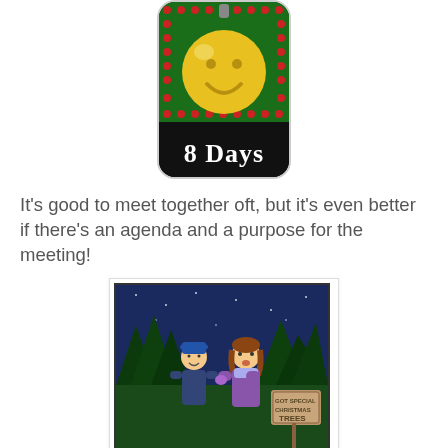[Figure (illustration): A holiday/Christmas ornament countdown badge showing '8 Days' text on black background with green dotted border and yellow smiley ornament]
It's good to meet together oft, but it's even better if there's an agenda and a purpose for the meeting!
[Figure (illustration): A cartoon showing a man and woman standing among Christmas trees at night. Caption reads: "You know, it's OK to say that we're going steady — you don't have to say 'we meet together oft'!"]
"You know, it's OK to say that we're going steady — you don't have to say 'we meet together oft'!"